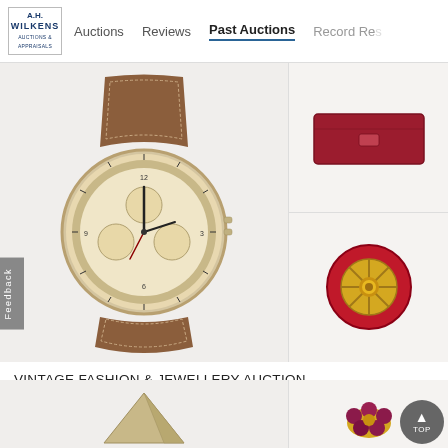AH Wilkens | Auctions | Reviews | Past Auctions | Record Resu...
[Figure (photo): Vintage Breitling chronograph watch with brown leather strap and cream/gold dial]
[Figure (photo): Red rectangular clutch/wallet]
[Figure (photo): Red and gold circular brooch or decorative pin with wheel/sun design]
VINTAGE FASHION & JEWELLERY AUCTION
A.H. Wilkens Auctions & Appraisals
May 31, 2022 4:53 PM UTC
Toronto, ON, CA    Auction Ended
[Figure (photo): Bottom left auction item - partially visible triangular/pyramidal object]
[Figure (photo): Bottom right auction item - floral brooch with red/purple gemstones in gold setting]